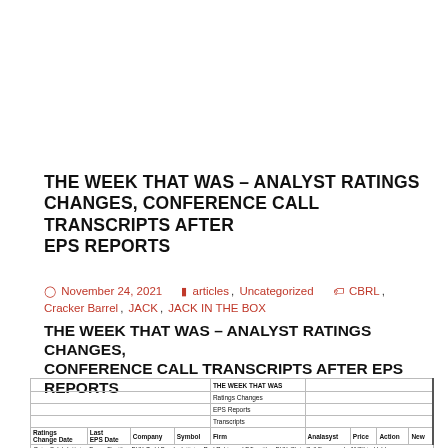THE WEEK THAT WAS – ANALYST RATINGS CHANGES, CONFERENCE CALL TRANSCRIPTS AFTER EPS REPORTS
November 24, 2021   articles, Uncategorized   CBRL, Cracker Barrel, JACK, JACK IN THE BOX
THE WEEK THAT WAS – ANALYST RATINGS CHANGES, CONFERENCE CALL TRANSCRIPTS AFTER EPS REPORTS
| Ratings Change Date | Last EPS Date | Company | Symbol | Firm | Analasyst | Price | Action | New |
| --- | --- | --- | --- | --- | --- | --- | --- | --- |
| Peter Saleh Initiates BurgerFi with a BUY. Todd Brooks Initiates Red Robin and BJ's with a BUY. Chris Cull Downgrads JACK to Hold. |